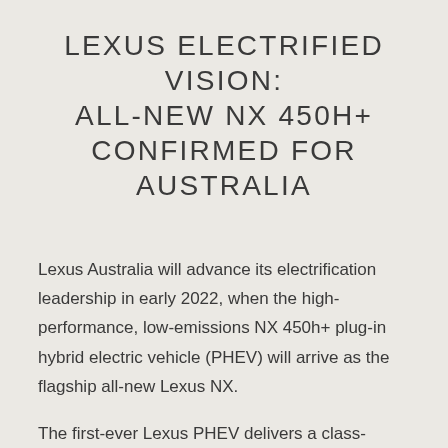LEXUS ELECTRIFIED VISION: ALL-NEW NX 450H+ CONFIRMED FOR AUSTRALIA
Lexus Australia will advance its electrification leadership in early 2022, when the high-performance, low-emissions NX 450h+ plug-in hybrid electric vehicle (PHEV) will arrive as the flagship all-new Lexus NX.
The first-ever Lexus PHEV delivers a class-leading